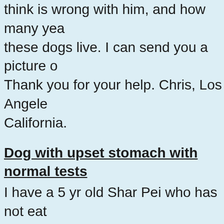think is wrong with him, and how many yea these dogs live. I can send you a picture o Thank you for your help. Chris, Los Angele California.
Dog with upset stomach with normal tests
I have a 5 yr old Shar Pei who has not eat 4 days and has thrown up water a couple o times today. Her blood work from the Vet c back normal. Any suggestions?
Discomfort with dog butt
12 yr old Boston terrier has symptoms: sits her butt turning from side to side with her h pointed upward and her tongue flicking in a out like catching flies. she also runs from r to room crying like something is biting her.